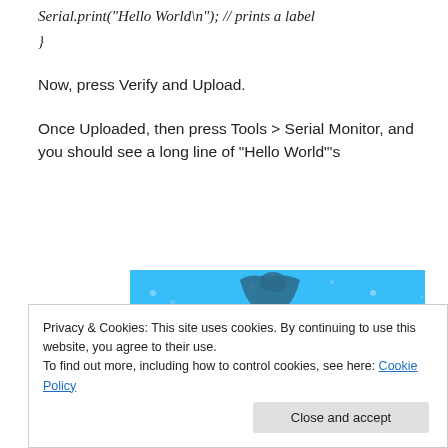Serial.print("Hello World\n"); // prints a label
}
Now, press Verify and Upload.
Once Uploaded, then press Tools > Serial Monitor, and you should see a long line of “Hello World”’s
[Figure (illustration): Day One journaling app advertisement banner with blue background, decorative dots/stars, character holding a box at top, text DAY ONE and The only journaling app you'll ever need.]
Privacy & Cookies: This site uses cookies. By continuing to use this website, you agree to their use.
To find out more, including how to control cookies, see here: Cookie Policy